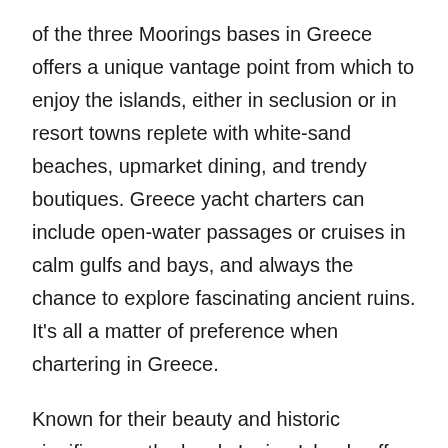of the three Moorings bases in Greece offers a unique vantage point from which to enjoy the islands, either in seclusion or in resort towns replete with white-sand beaches, upmarket dining, and trendy boutiques. Greece yacht charters can include open-water passages or cruises in calm gulfs and bays, and always the chance to explore fascinating ancient ruins. It's all a matter of preference when chartering in Greece.
Known for their beauty and historic significance, the lovely Ionian Islands off Greece's northwestern shores are among the most attractive in the Mediterranean. While some of the sailing destinations in Greece entail open-water, often spirited passages well offshore, a Greece yacht charter is far more sedate and family-friendly. An air of adventure fills the wind above the Saronic Gulf and extends to the shores of Poros, Hydra, Cape Sounion and beyond. And a Powe...